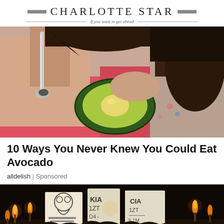Charlotte Star — If you want to get ahead
[Figure (photo): Close-up photo of a person holding a halved avocado with a spoon, wearing a pink top, dark hair visible]
10 Ways You Never Knew You Could Eat Avocado
alldelish | Sponsored
[Figure (photo): Dark nighttime photo of a crowd holding torches with hand-drawn signs visible]